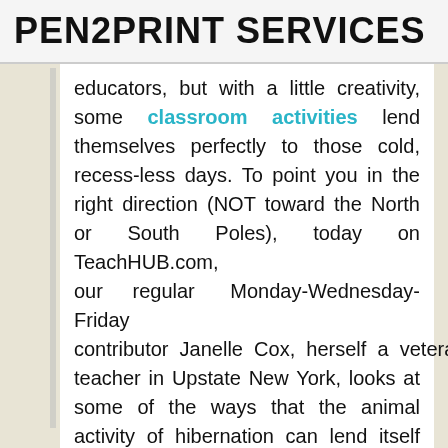PEN2PRINT SERVICES
educators, but with a little creativity, some classroom activities lend themselves perfectly to those cold, recess-less days. To point you in the right direction (NOT toward the North or South Poles), today on TeachHUB.com, our regular Monday-Wednesday-Friday contributor Janelle Cox, herself a veteran teacher in Upstate New York, looks at some of the ways that the animal activity of hibernation can lend itself naturally toward classroom activities.